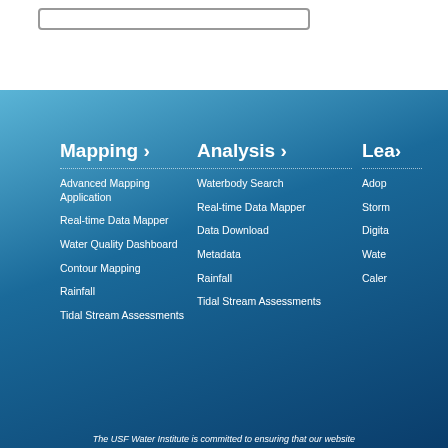Mapping ›
Advanced Mapping Application
Real-time Data Mapper
Water Quality Dashboard
Contour Mapping
Rainfall
Tidal Stream Assessments
Analysis ›
Waterbody Search
Real-time Data Mapper
Data Download
Metadata
Rainfall
Tidal Stream Assessments
Lea…
The USF Water Institute is committed to ensuring that our website